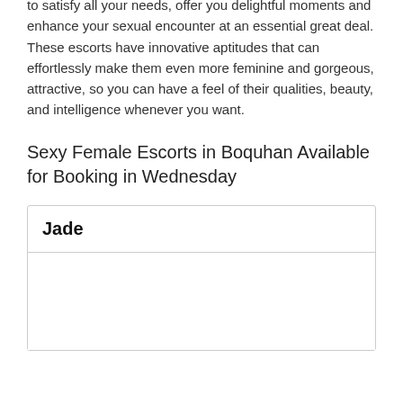to satisfy all your needs, offer you delightful moments and enhance your sexual encounter at an essential great deal. These escorts have innovative aptitudes that can effortlessly make them even more feminine and gorgeous, attractive, so you can have a feel of their qualities, beauty, and intelligence whenever you want.
Sexy Female Escorts in Boquhan Available for Booking in Wednesday
| Jade |
| --- |
|  |